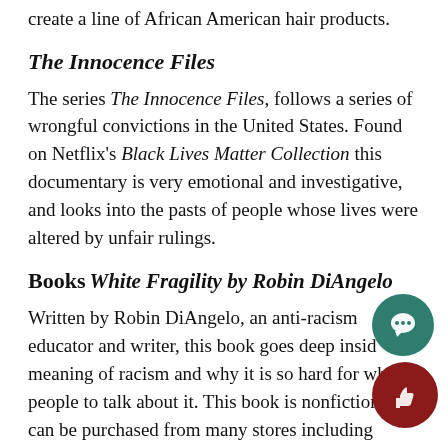create a line of African American hair products.
The Innocence Files
The series The Innocence Files, follows a series of wrongful convictions in the United States. Found on Netflix's Black Lives Matter Collection this documentary is very emotional and investigative, and looks into the pasts of people whose lives were altered by unfair rulings.
Books
White Fragility by Robin DiAngelo
Written by Robin DiAngelo, an anti-racism educator and writer, this book goes deep inside meaning of racism and why it is so hard for white people to talk about it. This book is nonfiction and can be purchased from many stores including